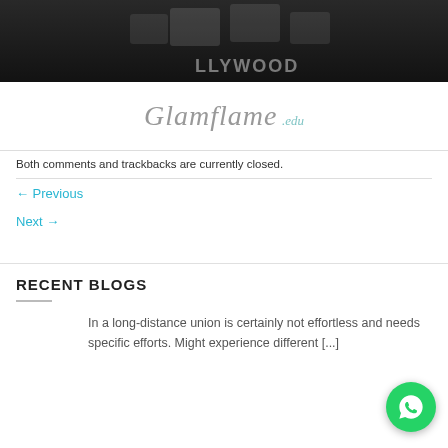[Figure (photo): Dark hero image with Hollywood clapperboard graphic and decorative film strip icons]
[Figure (logo): Cursive script logo reading 'Glamflame' with '.edu' in teal below]
Both comments and trackbacks are currently closed.
← Previous
Next →
RECENT BLOGS
In a long-distance union is certainly not effortless and needs specific efforts. Might experience different [...]